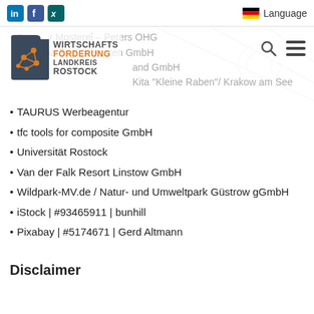LinkedIn Facebook Xing | Language
Satower Mosterei – Peters OHG
Schwaaner Fischwaren GmbH
amarc | Eventland GmbH
Kefadle | Kita "Kleine Raben"/ Krakow am See
TAURUS Werbeagentur
tfc tools for composite GmbH
Universität Rostock
Van der Falk Resort Linstow GmbH
Wildpark-MV.de / Natur- und Umweltpark Güstrow gGmbH
iStock | #93465911 | bunhill
Pixabay | #5174671 | Gerd Altmann
Disclaimer